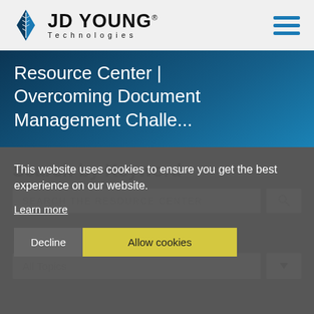[Figure (logo): JD Young Technologies logo with blue diamond/book icon and bold text JD YOUNG with Technologies in spaced letters below]
[Figure (illustration): Three horizontal blue lines hamburger menu icon in top right]
Resource Center | Overcoming Document Management Challe...
Search by Keyword
SEARCH THE RESOURCE CENTER
Browse by Topic
All Topics
This website uses cookies to ensure you get the best experience on our website.
Learn more
Decline   Allow cookies